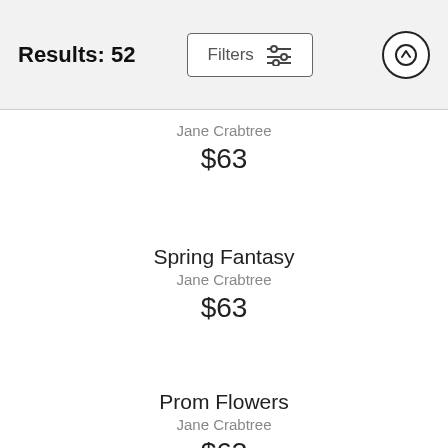Results: 52
Filters
Jane Crabtree
$63
Spring Fantasy
Jane Crabtree
$63
Prom Flowers
Jane Crabtree
$63